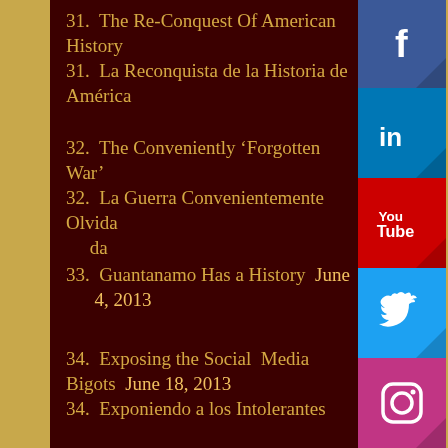31. The Re-Conquest Of American History
31. La Reconquista de la Historia de América
32. The Conveniently 'Forgotten War'
32. La Guerra Convenientemente Olvidada
33. Guantanamo Has a History  June 4, 2013
34. Exposing the Social Media Bigots  June 18, 2013
34. Exponiendo a los Intolerantes de los Medios Sociales  June...
[Figure (infographic): Social media icon buttons: Facebook (blue), LinkedIn (blue), YouTube (red), Twitter (cyan), Instagram (pink/magenta), arranged vertically on the right side of the page]